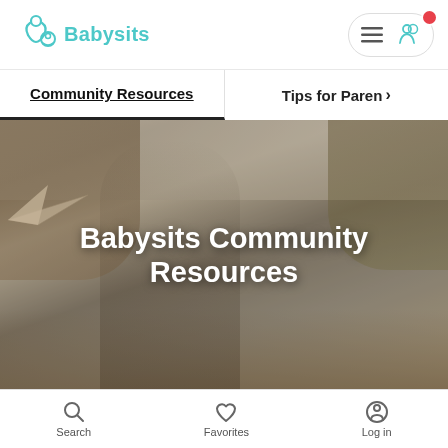Babysits
Community Resources | Tips for Paren >
[Figure (photo): Two Asian children running outdoors, smiling. A girl holds a paper airplane, a boy runs behind her. Blurred park background.]
Babysits Community Resources
Search  Favorites  Log in